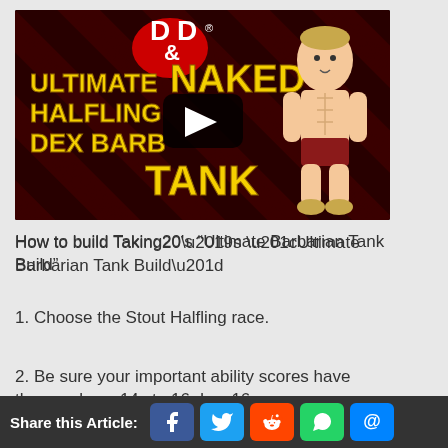[Figure (screenshot): Video thumbnail for 'Ultimate Naked Halfling Dex Barbarian Tank' D&D build video showing the D&D logo, yellow text on dark background with diagonal stripes, a cartoon halfling character, and a YouTube-style play button.]
How to build Taking20’s “Ultimate Barbarian Tank Build”
1. Choose the Stout Halfling race.
2. Be sure your important ability scores have these values: 14 str, 16 dex, 16 con
Share this Article: